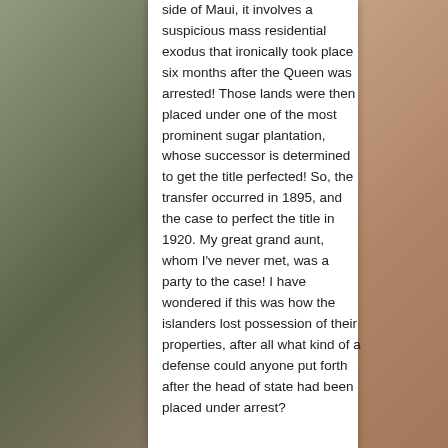side of Maui, it involves a suspicious mass residential exodus that ironically took place six months after the Queen was arrested! Those lands were then placed under one of the most prominent sugar plantation, whose successor is determined to get the title perfected! So, the transfer occurred in 1895, and the case to perfect the title in 1920. My great grand aunt, whom I've never met, was a party to the case! I have wondered if this was how the islanders lost possession of their properties, after all what kind of a defense could anyone put forth after the head of state had been placed under arrest?